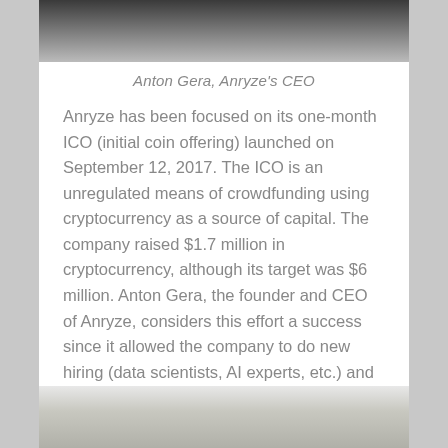[Figure (photo): Partial photo of Anton Gera, Anryze's CEO, cropped at top of page]
Anton Gera, Anryze's CEO
Anryze has been focused on its one-month ICO (initial coin offering) launched on September 12, 2017. The ICO is an unregulated means of crowdfunding using cryptocurrency as a source of capital. The company raised $1.7 million in cryptocurrency, although its target was $6 million. Anton Gera, the founder and CEO of Anryze, considers this effort a success since it allowed the company to do new hiring (data scientists, AI experts, etc.) and will aid its new product development and marketing activity.
[Figure (photo): Partial photo at bottom of page, showing an interior room with ceiling lights]